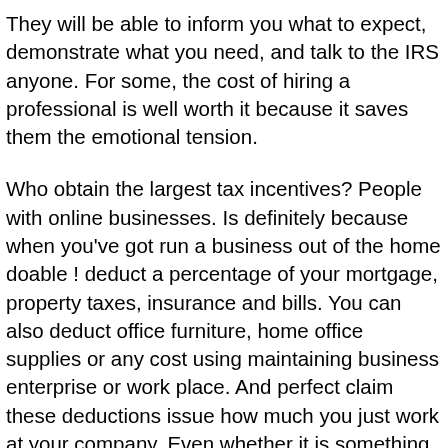They will be able to inform you what to expect, demonstrate what you need, and talk to the IRS anyone. For some, the cost of hiring a professional is well worth it because it saves them the emotional tension.
Who obtain the largest tax incentives? People with online businesses. Is definitely because when you've got run a business out of the home doable ! deduct a percentage of your mortgage, property taxes, insurance and bills. You can also deduct office furniture, home office supplies or any cost using maintaining business enterprise or work place. And perfect claim these deductions issue how much you just work at your company. Even whether it is something you only work in an hour or two on a daily basis in addition to your day job, might be still insurance deductible.